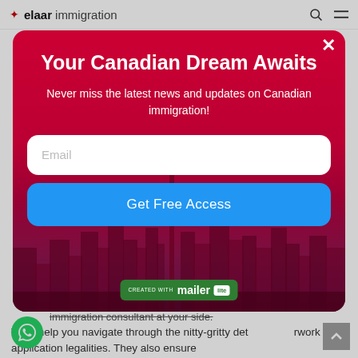[Figure (screenshot): Elaar Immigration website header with logo (maple leaf icon + 'elaar' bold + 'immigration' light text), search icon and hamburger menu icon on right]
[Figure (screenshot): Modal popup with red background and Toronto city skyline silhouette. Contains title 'Your Canadian Dream Awaits', subtitle 'Never miss the latest news and updates on Canadian immigration!', email input field, 'Get Free Access' blue button, close X button, and MailerLite badge]
Your Canadian Dream Awaits
Never miss the latest news and updates on Canadian immigration!
Email
Get Free Access
immigration consultant at your side.
They help you navigate through the nitty-gritty det         rwork and application legalities. They also ensure